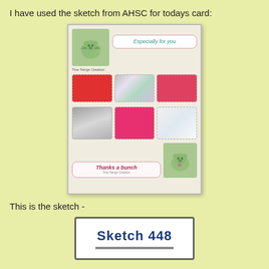I have used the sketch from AHSC for todays card:
[Figure (photo): A handmade greeting card featuring a green hamster stamp in the top-left corner, an 'Especially for you' label, three rows of decorative scallop-edged paper samples in red, holographic silver, pink and metallic finishes, a 'Thanks a bunch' label at the bottom-left, and a green hamster stamp at the bottom-right.]
This is the sketch -
[Figure (other): Partial view of a sketch card labeled 'Sketch 448' in bold dark blue text with a horizontal bar below it.]